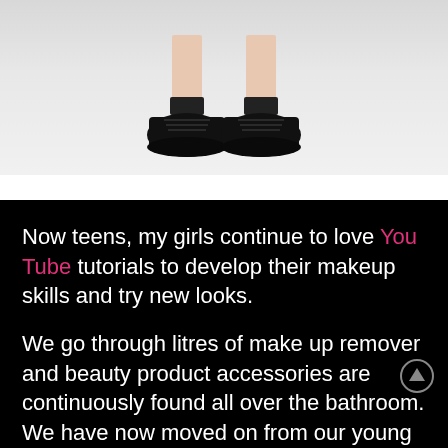[Figure (photo): Close-up of a person's legs from knees down wearing black sneakers/trainers against a white/light grey background]
Now teens, my girls continue to love You Tube tutorials to develop their makeup skills and try new looks.
We go through litres of make up remover and beauty product accessories are continuously found all over the bathroom. We have now moved on from our young years of smashing lipsticks and ruining makeup, now we just use a lot of Kooki U and refine our skills!